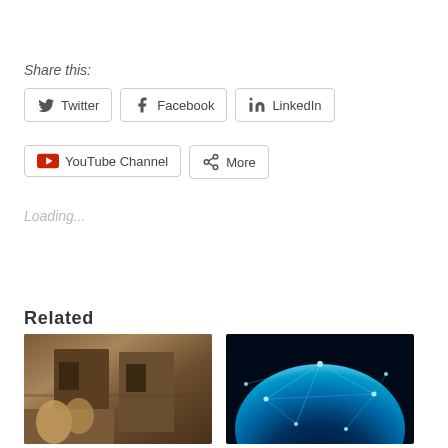Share this:
Twitter
Facebook
LinkedIn
YouTube Channel
More
Loading...
Related
[Figure (photo): People near a dilapidated building wall]
[Figure (photo): Blue glowing globe with network connections]